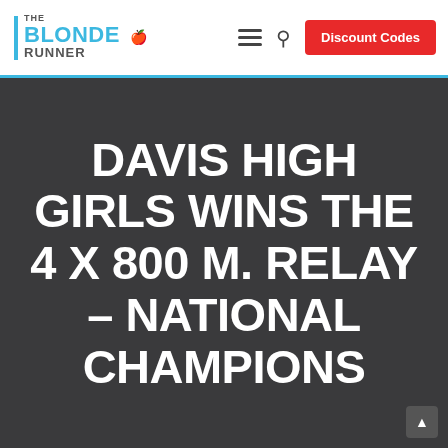THE BLONDE RUNNER — Discount Codes
DAVIS HIGH GIRLS WINS THE 4 X 800 M. RELAY – NATIONAL CHAMPIONS